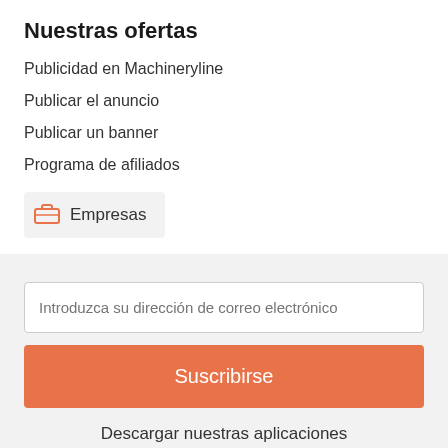Nuestras ofertas
Publicidad en Machineryline
Publicar el anuncio
Publicar un banner
Programa de afiliados
Empresas
Introduzca su dirección de correo electrónico
Suscribirse
Descargar nuestras aplicaciones